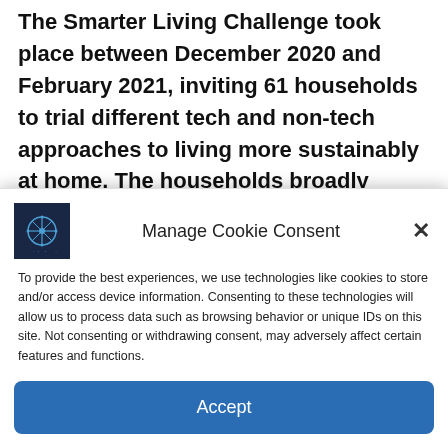The Smarter Living Challenge took place between December 2020 and February 2021, inviting 61 households to trial different tech and non-tech approaches to living more sustainably at home. The households broadly reflected the UK population in terms of demographics, living circumstances, location, and attitudes to
Manage Cookie Consent
To provide the best experiences, we use technologies like cookies to store and/or access device information. Consenting to these technologies will allow us to process data such as browsing behavior or unique IDs on this site. Not consenting or withdrawing consent, may adversely affect certain features and functions.
Accept